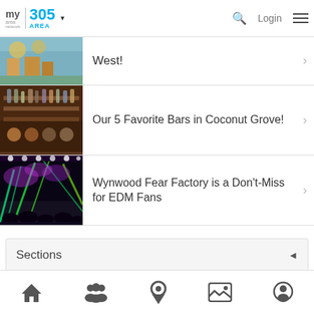my area network | 305 AREA | Login
West!
Our 5 Favorite Bars in Coconut Grove!
Wynwood Fear Factory is a Don't-Miss for EDM Fans
Sections
Home | Community | Location | Gallery | Profile